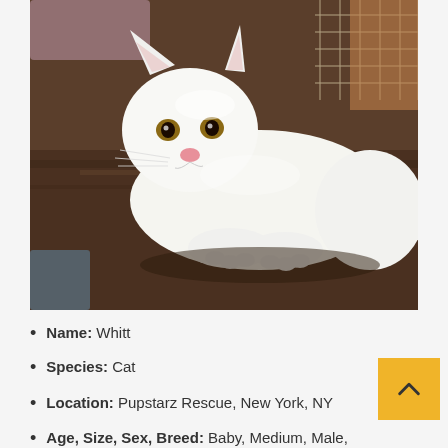[Figure (photo): A fluffy white cat with amber eyes and a pink nose lying on a dark granite surface inside what appears to be a pet store or rescue facility with wire cages visible in the background.]
Name: Whitt
Species: Cat
Location: Pupstarz Rescue, New York, NY
Age, Size, Sex, Breed: Baby, Medium, Male, Domestic